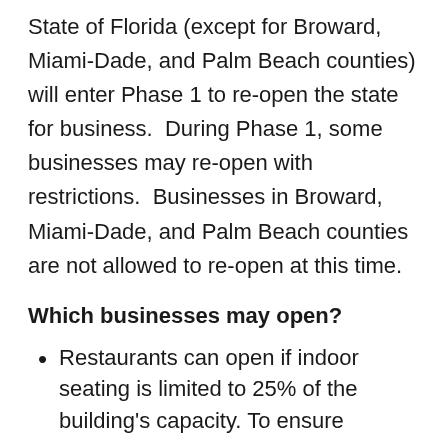State of Florida (except for Broward, Miami-Dade, and Palm Beach counties) will enter Phase 1 to re-open the state for business.  During Phase 1, some businesses may re-open with restrictions.  Businesses in Broward, Miami-Dade, and Palm Beach counties are not allowed to re-open at this time.
Which businesses may open?
Restaurants can open if indoor seating is limited to 25% of the building's capacity. To ensure